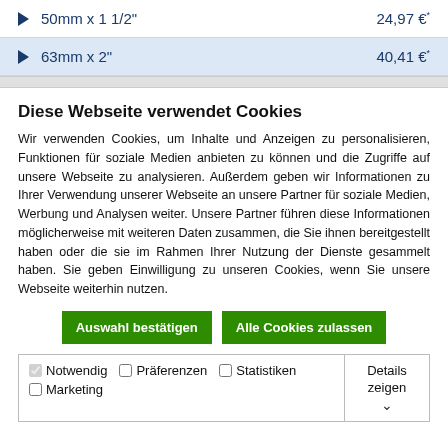50mm x 1 1/2" — 24,97 €*
63mm x 2" — 40,41 €*
Diese Webseite verwendet Cookies
Wir verwenden Cookies, um Inhalte und Anzeigen zu personalisieren, Funktionen für soziale Medien anbieten zu können und die Zugriffe auf unsere Webseite zu analysieren. Außerdem geben wir Informationen zu Ihrer Verwendung unserer Webseite an unsere Partner für soziale Medien, Werbung und Analysen weiter. Unsere Partner führen diese Informationen möglicherweise mit weiteren Daten zusammen, die Sie ihnen bereitgestellt haben oder die sie im Rahmen Ihrer Nutzung der Dienste gesammelt haben. Sie geben Einwilligung zu unseren Cookies, wenn Sie unsere Webseite weiterhin nutzen.
Auswahl bestätigen | Alle Cookies zulassen
Notwendig  Präferenzen  Statistiken  Marketing  Details zeigen